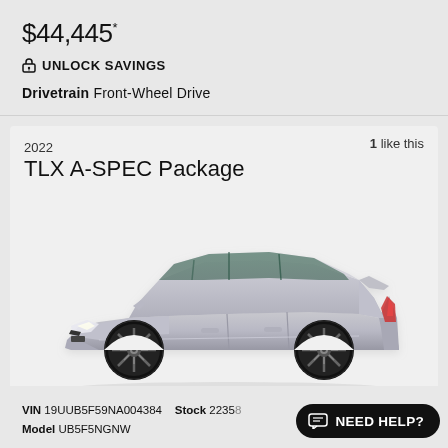$44,445*
🔒 UNLOCK SAVINGS
Drivetrain Front-Wheel Drive
1 like this
2022
TLX A-SPEC Package
[Figure (photo): Side profile view of a 2022 Acura TLX A-SPEC Package in silver/gray color on a light background]
VIN 19UUB5F59NA004384   Stock 2235[8...]   Model UB5F5NGNW
NEED HELP?